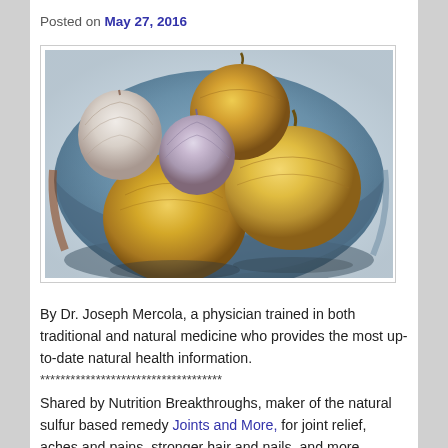Posted on May 27, 2016
[Figure (photo): Photograph of onions and garlic bulbs arranged in a decorative bowl, shot from above. Golden/yellow onions dominate the foreground and right side, with white and purple garlic bulbs on the left. The bowl appears to be a rustic blue-grey ceramic dish.]
By Dr. Joseph Mercola, a physician trained in both traditional and natural medicine who provides the most up-to-date natural health information.
************************************
Shared by Nutrition Breakthroughs, maker of the natural sulfur based remedy Joints and More, for joint relief, aches and pains, stronger hair and nails, and more energy.